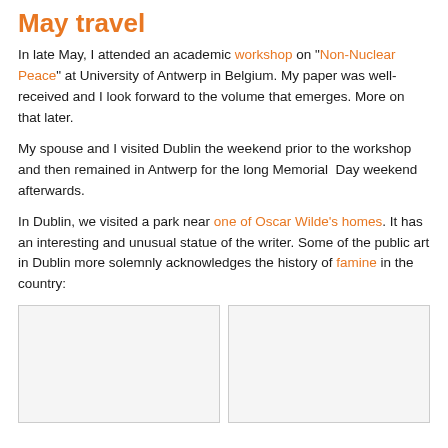May travel
In late May, I attended an academic workshop on "Non-Nuclear Peace" at University of Antwerp in Belgium. My paper was well-received and I look forward to the volume that emerges. More on that later.
My spouse and I visited Dublin the weekend prior to the workshop and then remained in Antwerp for the long Memorial Day weekend afterwards.
In Dublin, we visited a park near one of Oscar Wilde's homes. It has an interesting and unusual statue of the writer. Some of the public art in Dublin more solemnly acknowledges the history of famine in the country:
[Figure (photo): Two side-by-side photographs, partially visible, related to Dublin famine memorial public art.]